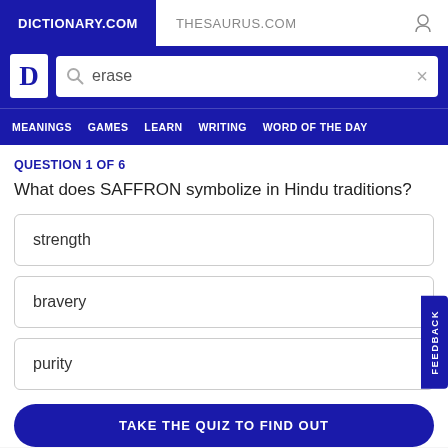DICTIONARY.COM   THESAURUS.COM
[Figure (screenshot): Dictionary.com logo with search bar containing 'erase']
MEANINGS   GAMES   LEARN   WRITING   WORD OF THE DAY
QUESTION 1 OF 6
What does SAFFRON symbolize in Hindu traditions?
strength
bravery
purity
TAKE THE QUIZ TO FIND OUT